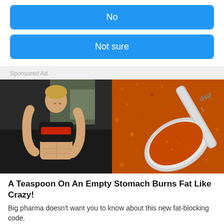No
Not sure
Sponsored Ad
[Figure (photo): Split image: left side shows a fit blonde woman in a gym lifting her shirt to show abdominal muscles, wearing a black and red top; right side shows a metal measuring spoon filled with orange-red spice powder (labeled 'dsp').]
A Teaspoon On An Empty Stomach Burns Fat Like Crazy!
Big pharma doesn't want you to know about this new fat-blocking code.